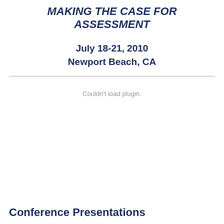MAKING THE CASE FOR ASSESSMENT
July 18-21, 2010
Newport Beach, CA
[Figure (other): Plugin content area — Couldn't load plugin.]
Conference Presentations